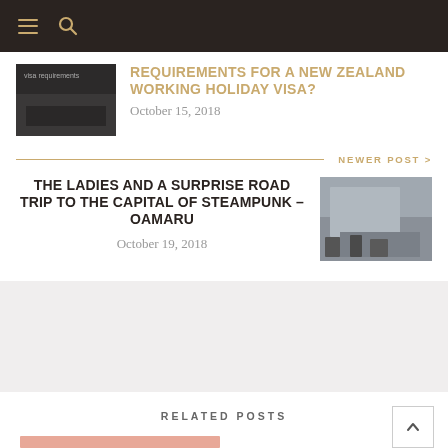REQUIREMENTS FOR A NEW ZEALAND WORKING HOLIDAY VISA?
October 15, 2018
NEWER POST >
THE LADIES AND A SURPRISE ROAD TRIP TO THE CAPITAL OF STEAMPUNK – OAMARU
October 19, 2018
RELATED POSTS